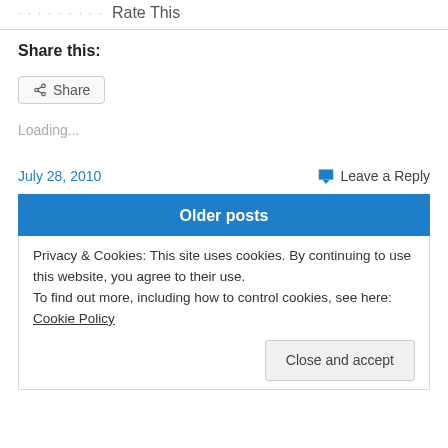Rate This
Share this:
Share
Loading...
July 28, 2010
Leave a Reply
Older posts
Privacy & Cookies: This site uses cookies. By continuing to use this website, you agree to their use.
To find out more, including how to control cookies, see here: Cookie Policy
Close and accept